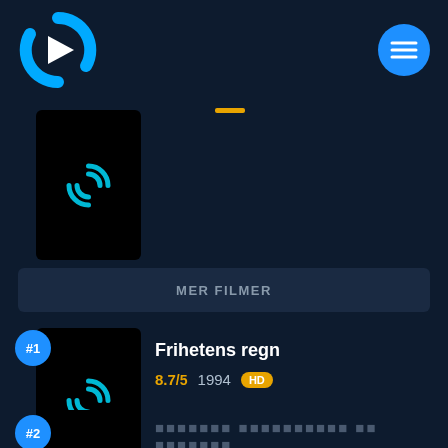[Figure (logo): Streaming app logo: cyan/blue C-shape with white play arrow inside, on dark navy background]
[Figure (logo): Hamburger menu icon inside a blue circle, top right]
[Figure (screenshot): Partially visible movie thumbnail with loading spinner]
MER FILMER
#1
[Figure (screenshot): Movie thumbnail with loading spinner for Frihetens regn]
Frihetens regn
8.7/5  1994  HD
#2
████████ ██████████ ██ ███████